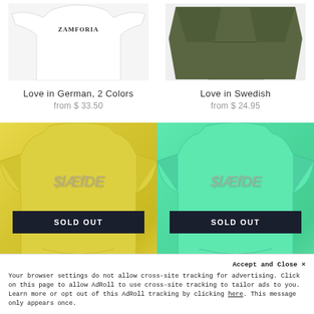[Figure (photo): White long-sleeve sweatshirt with 'ZAMFORIA' text on front]
Love in German, 2 Colors
from $ 33.50
[Figure (photo): Olive/army green folded t-shirt]
Love in Swedish
from $ 24.95
[Figure (photo): Yellow t-shirt with graffiti style SLAEDE text and SOLD OUT banner]
[Figure (photo): Mint green t-shirt with graffiti style SLAEDE text and SOLD OUT banner]
Accept and Close ✕
Your browser settings do not allow cross-site tracking for advertising. Click on this page to allow AdRoll to use cross-site tracking to tailor ads to you. Learn more or opt out of this AdRoll tracking by clicking here. This message only appears once.